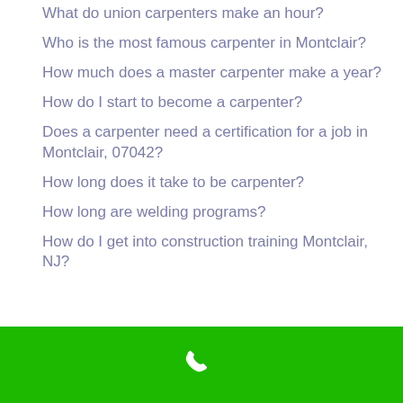What do union carpenters make an hour?
Who is the most famous carpenter in Montclair?
How much does a master carpenter make a year?
How do I start to become a carpenter?
Does a carpenter need a certification for a job in Montclair, 07042?
How long does it take to be carpenter?
How long are welding programs?
How do I get into construction training Montclair, NJ?
[Figure (other): Black rectangular banner bar]